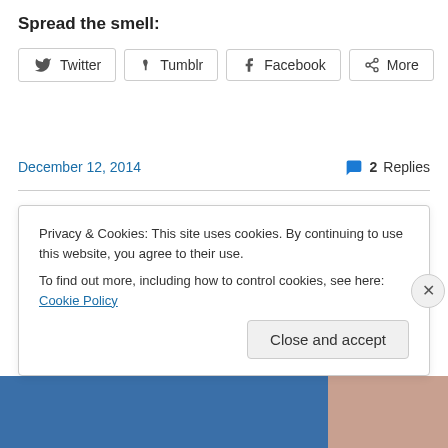Spread the smell:
Twitter  Tumblr  Facebook  More
December 12, 2014    2 Replies
sc 370 Dinner with Brian and Kevin at the Hazelnut Kitchen
Privacy & Cookies: This site uses cookies. By continuing to use this website, you agree to their use.
To find out more, including how to control cookies, see here: Cookie Policy